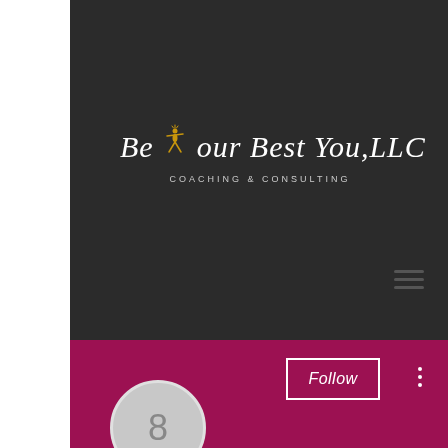[Figure (logo): Be Your Best You, LLC logo with script text and gold star figure on dark background, subtitle reads COACHING & CONSULTING]
[Figure (infographic): Hamburger menu icon (three horizontal lines) on dark background]
[Figure (infographic): Follow button with white border on magenta background, three-dot menu icon to the right, and profile circle with number 8 in bottom left]